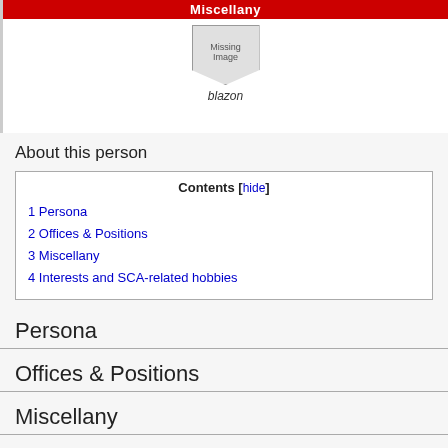[Figure (other): Missing image placeholder in shield shape with 'Missing Image' text, labeled 'blazon' below]
About this person
| Contents [hide] |
| --- |
| 1 Persona |
| 2 Offices & Positions |
| 3 Miscellany |
| 4 Interests and SCA-related hobbies |
Persona
Offices & Positions
Miscellany
Interests and SCA-related hobbies
| v ace d ace e | Middle Kingdom Chronicler |
| --- | --- |
| Thorvald inn Grimmi · |